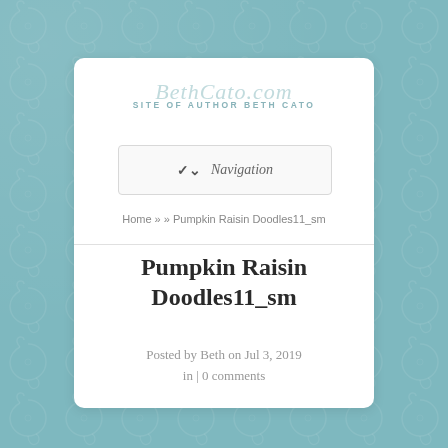BethCato.com — SITE OF AUTHOR BETH CATO
Navigation
Home » » Pumpkin Raisin Doodles11_sm
Pumpkin Raisin Doodles11_sm
Posted by Beth on Jul 3, 2019 in | 0 comments